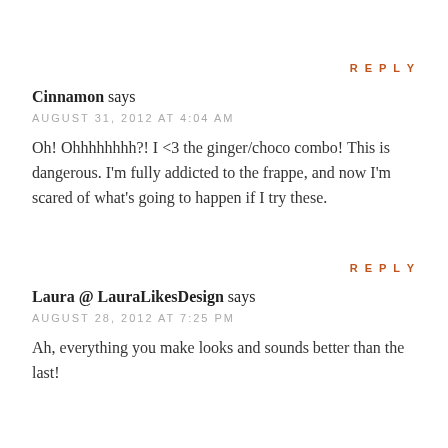REPLY
Cinnamon says
AUGUST 31, 2012 AT 4:04 AM
Oh! Ohhhhhhhh?! I <3 the ginger/choco combo! This is dangerous. I'm fully addicted to the frappe, and now I'm scared of what's going to happen if I try these.
REPLY
Laura @ LauraLikesDesign says
AUGUST 28, 2012 AT 7:25 PM
Ah, everything you make looks and sounds better than the last!